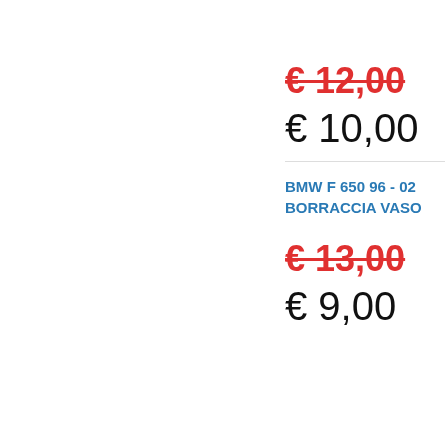€ 12,00 (strikethrough)
€ 10,00
BMW F 650 96 - 02 BORRACCIA VASO
€ 13,00 (strikethrough)
€ 9,00